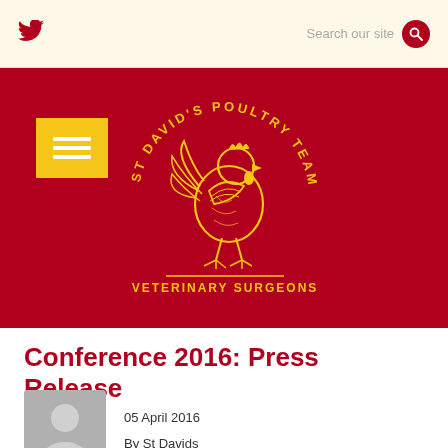[Figure (logo): St David's Poultry Team Veterinary Surgeons logo with rooster illustration on red background, yellow menu hamburger button on left]
Conference 2016: Press Release
05 April 2016
By St Davids